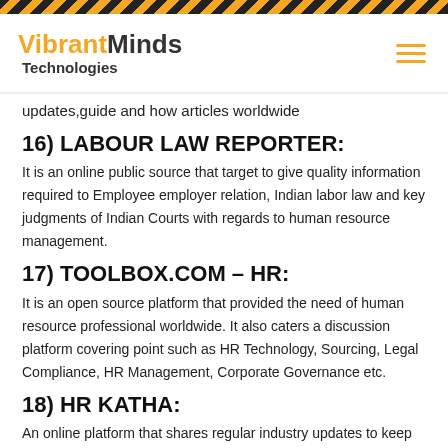VibrantMinds Technologies
updates,guide and how articles worldwide
16) LABOUR LAW REPORTER:
It is an online public source that target to give quality information required to Employee employer relation, Indian labor law and key judgments of Indian Courts with regards to human resource management.
17) TOOLBOX.COM – HR:
It is an open source platform that provided the need of human resource professional worldwide. It also caters a discussion platform covering point such as HR Technology, Sourcing, Legal Compliance, HR Management, Corporate Governance etc.
18) HR KATHA:
An online platform that shares regular industry updates to keep